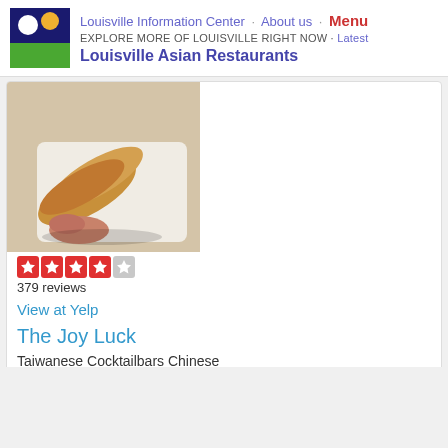Louisville Information Center · About us · Menu
EXPLORE MORE OF LOUISVILLE RIGHT NOW · Latest
Louisville Asian Restaurants
[Figure (photo): Photo of egg rolls or spring rolls on a white plate]
379 reviews
View at Yelp
The Joy Luck
Taiwanese Cocktailbars Chinese
1285 Bardstown Rd
Louisville, KY 40204
[Figure (photo): Partial photo of another restaurant listing, showing a wooden table or surface]